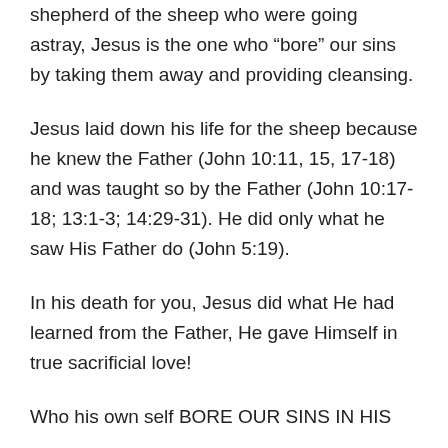shepherd of the sheep who were going astray, Jesus is the one who “bore” our sins by taking them away and providing cleansing.
Jesus laid down his life for the sheep because he knew the Father (John 10:11, 15, 17-18) and was taught so by the Father (John 10:17-18; 13:1-3; 14:29-31). He did only what he saw His Father do (John 5:19).
In his death for you, Jesus did what He had learned from the Father, He gave Himself in true sacrificial love!
Who his own self BORE OUR SINS IN HIS